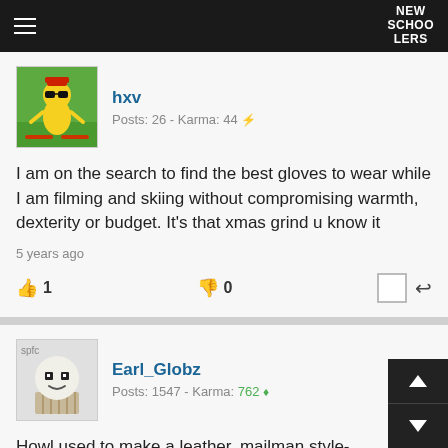NEW SCHOOLERS
[Figure (illustration): Cartoon avatar of user hxv — colorful animated character on green background]
hxv
Posts: 26 - Karma: 44
I am on the search to find the best gloves to wear while I am filming and skiing without compromising warmth, dexterity or budget. It's that xmas grind u know it
5 years ago
👍 1   👎 0
[Figure (illustration): Cartoon avatar of user Earl_Globz — bald round character like a muffin/cupcake shape]
Earl_Globz
Posts: 1547 - Karma: 762
Howl used to make a leather, mailman style-mitt. I wish they did, def my alltime favorite glove. I bet these would be just as for filming, however.